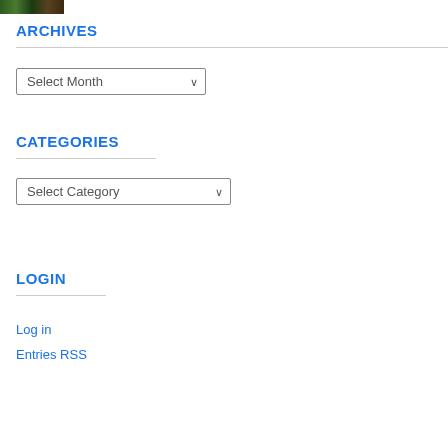[Figure (photo): Small thumbnail photo strip at top left, showing people or nature scene with dark green and brown tones]
ARCHIVES
Select Month (dropdown)
CATEGORIES
Select Category (dropdown)
LOGIN
Log in